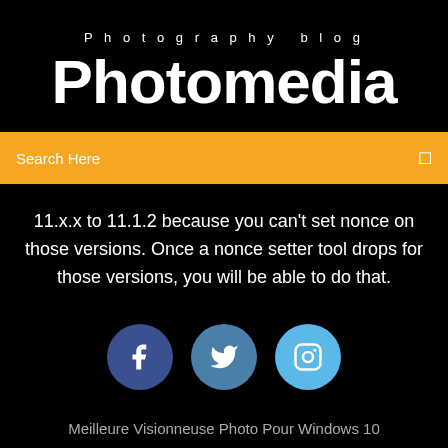Photography blog
Photomedia
Search Here
11.x.x to 11.1.2 because you can't set nonce on those versions. Once a nonce setter tool drops for those versions, you will be able to do that.
[Figure (infographic): Three social media icon circles: Facebook (dark blue), Twitter (teal blue), Instagram (light blue)]
Meilleure Visionneuse Photo Pour Windows 10